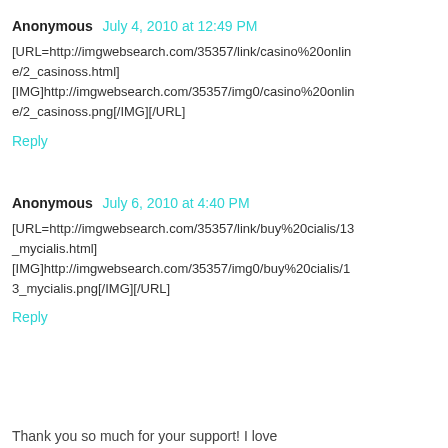Anonymous  July 4, 2010 at 12:49 PM
[URL=http://imgwebsearch.com/35357/link/casino%20online/2_casinoss.html][IMG]http://imgwebsearch.com/35357/img0/casino%20online/2_casinoss.png[/IMG][/URL]
Reply
Anonymous  July 6, 2010 at 4:40 PM
[URL=http://imgwebsearch.com/35357/link/buy%20cialis/13_mycialis.html][IMG]http://imgwebsearch.com/35357/img0/buy%20cialis/13_mycialis.png[/IMG][/URL]
Reply
Thank you so much for your support! I love